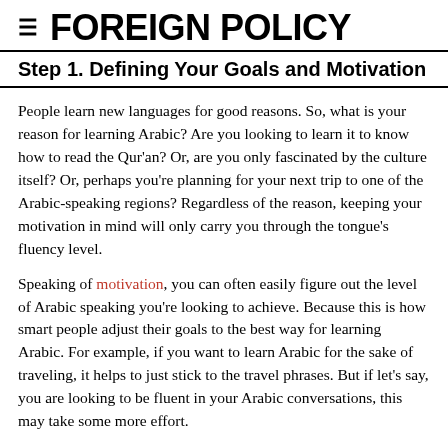≡ FOREIGN POLICY
Step 1. Defining Your Goals and Motivation
People learn new languages for good reasons. So, what is your reason for learning Arabic? Are you looking to learn it to know how to read the Qur'an? Or, are you only fascinated by the culture itself? Or, perhaps you're planning for your next trip to one of the Arabic-speaking regions? Regardless of the reason, keeping your motivation in mind will only carry you through the tongue's fluency level.
Speaking of motivation, you can often easily figure out the level of Arabic speaking you're looking to achieve. Because this is how smart people adjust their goals to the best way for learning Arabic. For example, if you want to learn Arabic for the sake of traveling, it helps to just stick to the travel phrases. But if let's say, you are looking to be fluent in your Arabic conversations, this may take some more effort